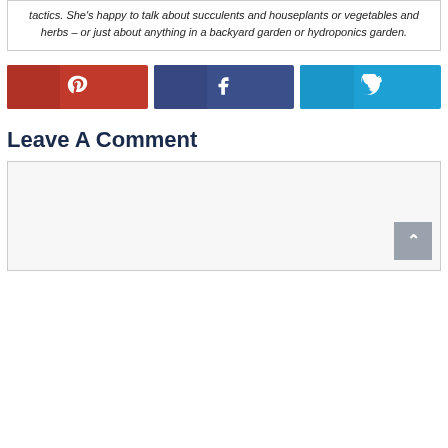tactics. She's happy to talk about succulents and houseplants or vegetables and herbs – or just about anything in a backyard garden or hydroponics garden.
[Figure (infographic): Three social share buttons: Pinterest (red), Facebook (dark blue), Twitter (light blue), each with an icon]
Leave A Comment
[Figure (screenshot): Comment text input box with light grey background and a scroll-to-top button in the bottom right corner]